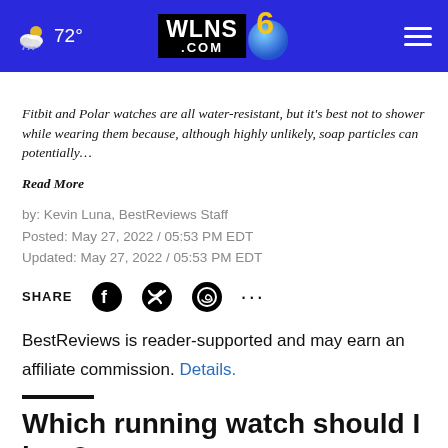72° WLNS 6 .COM
Fitbit and Polar watches are all water-resistant, but it's best not to shower while wearing them because, although highly unlikely, soap particles can potentially… Read More
by: Kevin Luna, BestReviews Staff
Posted: May 27, 2022 / 05:53 PM EDT
Updated: May 27, 2022 / 05:53 PM EDT
SHARE
BestReviews is reader-supported and may earn an affiliate commission. Details.
Which running watch should I buy?